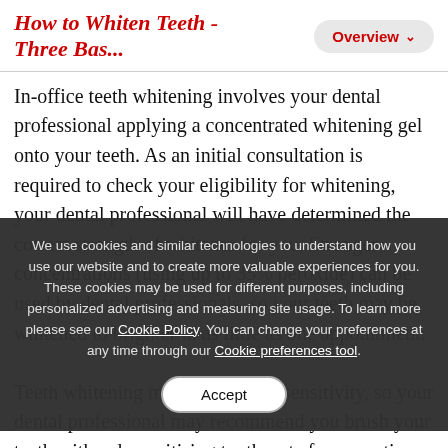How to Whiten Teeth - Three Bas...
In-office teeth whitening involves your dental professional applying a concentrated whitening gel onto your teeth. As an initial consultation is required to check your eligibility for whitening, your dental professional will have determined the correct strength of whitener for you. Stronger concentrations (using up to 35% peroxide) can be used by dental professionals, so your teeth may be whitened to brighter in as little as one appointment.
We use cookies and similar technologies to understand how you use our website and to create more valuable experiences for you. These cookies may be used for different purposes, including personalized advertising and measuring site usage. To learn more please see our Cookie Policy. You can change your preferences at any time through our Cookie preferences tool.
Accept
Teeth whitening may cause tooth sensitivity, so your dental professional may recommend you brush your teeth with a desensitising toothpaste for some time before and after the appointment. You may also be